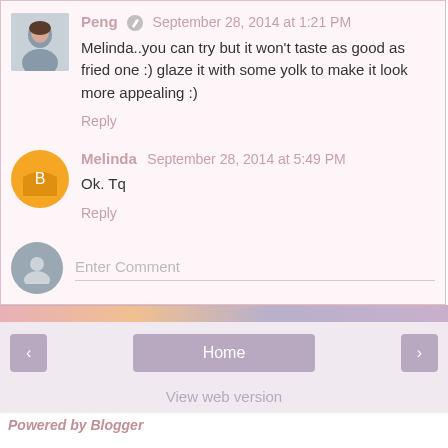Peng · September 28, 2014 at 1:21 PM
Melinda..you can try but it won't taste as good as fried one :) glaze it with some yolk to make it look more appealing :)
Reply
Melinda · September 28, 2014 at 5:49 PM
Ok. Tq
Reply
Enter Comment
Home
View web version
Powered by Blogger